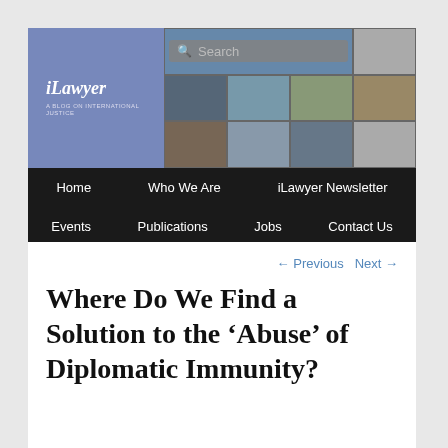[Figure (screenshot): iLawyer blog header banner with logo text 'iLawyer - A Blog on International Justice' on blue background, and a grid of photo thumbnails including courts, military, political figures, with a search box overlay]
Home  Who We Are  iLawyer Newsletter  Events  Publications  Jobs  Contact Us
← Previous   Next →
Where Do We Find a Solution to the 'Abuse' of Diplomatic Immunity?